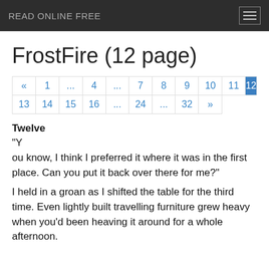READ ONLINE FREE
FrostFire (12 page)
| « | 1 | ... | 4 | ... | 7 | 8 | 9 | 10 | 11 | 12 |
| 13 | 14 | 15 | 16 | ... | 24 | ... | 32 | » |  |  |
Twelve
“Y
ou know, I think I preferred it where it was in the first place. Can you put it back over there for me?”
I held in a groan as I shifted the table for the third time. Even lightly built travelling furniture grew heavy when you’d been heaving it around for a whole afternoon.
And ill-d is it he are probably the le le le to t to ould